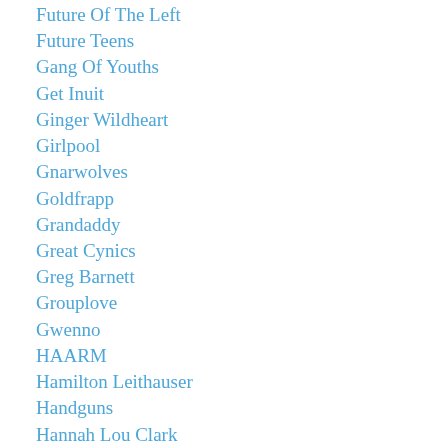Future Of The Left
Future Teens
Gang Of Youths
Get Inuit
Ginger Wildheart
Girlpool
Gnarwolves
Goldfrapp
Grandaddy
Great Cynics
Greg Barnett
Grouplove
Gwenno
HAARM
Hamilton Leithauser
Handguns
Hannah Lou Clark
Happy Accidents
Heir
Highasakite
High Tides